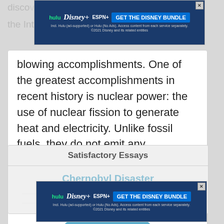[Figure (screenshot): Disney Bundle advertisement banner (Hulu, Disney+, ESPN+) with blue background and 'GET THE DISNEY BUNDLE' CTA button]
blowing accomplishments. One of the greatest accomplishments in recent history is nuclear power: the use of nuclear fission to generate heat and electricity. Unlike fossil fuels, they do not emit any atmospheric pollutants, generate immense
Premium   Nuclear power Chernobyl disaster Nuclear fission
Read More
Satisfactory Essays
Chernobyl Disaster
[Figure (screenshot): Disney Bundle advertisement banner (Hulu, Disney+, ESPN+) with blue background and 'GET THE DISNEY BUNDLE' CTA button]
2 Pages